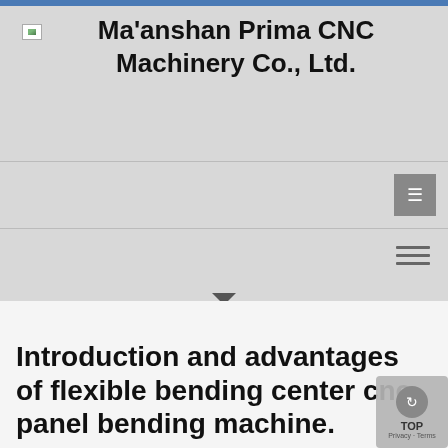Ma'anshan Prima CNC Machinery Co., Ltd.
Introduction and advantages of flexible bending center cnc panel bending machine.